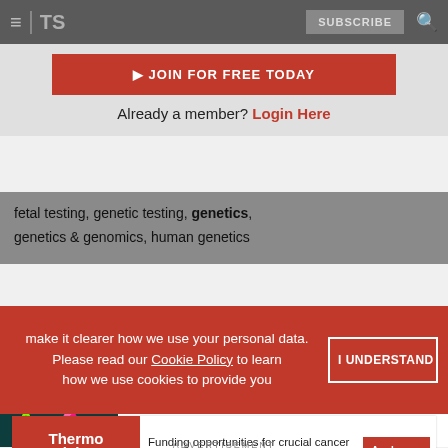TS | SUBSCRIBE
JOIN FOR FREE TODAY
Already a member? Login Here
fetal testing, genetic testing, genetics, genetics & genomics, human genetics
More Articles in Genetics
[Figure (illustration): Two DNA double helix strands, one green and one pink/magenta, against a dark teal background]
Scans of Sundry Variant Types Uncover Autism-
make it clearer how we use your personal data. Please read our Cookie Policy to learn how we use cookies to provide you
[Figure (logo): Thermo Fisher Scientific logo in white on red background]
Funding opportunities for crucial cancer research
ADVERTISEMENT